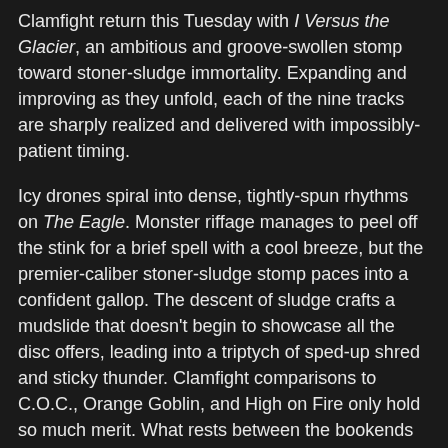Clamfight return this Tuesday with I Versus the Glacier, an ambitious and groove-swollen stomp toward stoner-sludge immortality. Expanding and improving as they unfold, each of the nine tracks are sharply realized and delivered with impossibly-patient timing.
Icy drones spiral into dense, tightly-spun rhythms on The Eagle. Monster riffage manages to peel off the stink for a brief spell with a cool breeze, but the premier-caliber stoner-sludge stomp paces into a confident gallop. The descent of sludge crafts a mudslide that doesn't begin to showcase all the disc offers, leading into a triptych of sped-up shred and sticky thunder. Clamfight comparisons to C.O.C., Orange Goblin, and High on Fire only hold so much merit. What rests between the bookends is a litany of massive promises followed by gargantuan delivery.
Sandriders can't shake the thickness, but the buzz/slice/buzz floods your home and spits at rescuers. The hollow swarm of guitar splices on Shadow Line pulls you from questions on how Andy Martin balances violent drum crushes with poignant, weathered vocal observation. And on